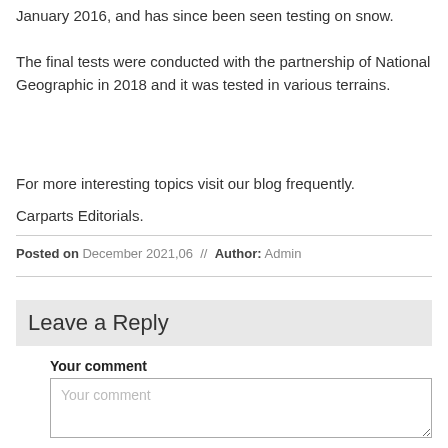January 2016, and has since been seen testing on snow.
The final tests were conducted with the partnership of National Geographic in 2018 and it was tested in various terrains.
For more interesting topics visit our blog frequently.
Carparts Editorials.
Posted on December 2021,06 // Author: Admin
Leave a Reply
Your comment
Your comment